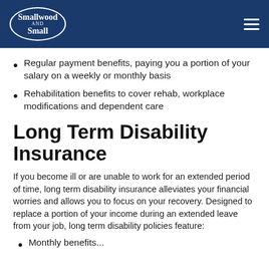Smallwood and Small
Regular payment benefits, paying you a portion of your salary on a weekly or monthly basis
Rehabilitation benefits to cover rehab, workplace modifications and dependent care
Long Term Disability Insurance
If you become ill or are unable to work for an extended period of time, long term disability insurance alleviates your financial worries and allows you to focus on your recovery. Designed to replace a portion of your income during an extended leave from your job, long term disability policies feature:
Monthly benefits...